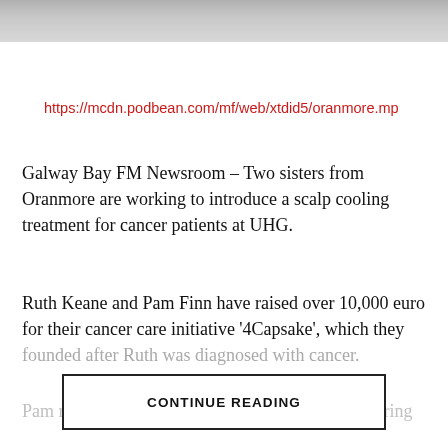[Figure (photo): Partial photo strip at top of page showing people]
https://mcdn.podbean.com/mf/web/xtdid5/oranmore.mp
Galway Bay FM Newsroom – Two sisters from Oranmore are working to introduce a scalp cooling treatment for cancer patients at UHG.
Ruth Keane and Pam Finn have raised over 10,000 euro for their cancer care initiative '4Capsake', which they founded after Ruth was diagnosed with cancer.
Pam researched Paxman Scalp Cooling – a pioneering
CONTINUE READING